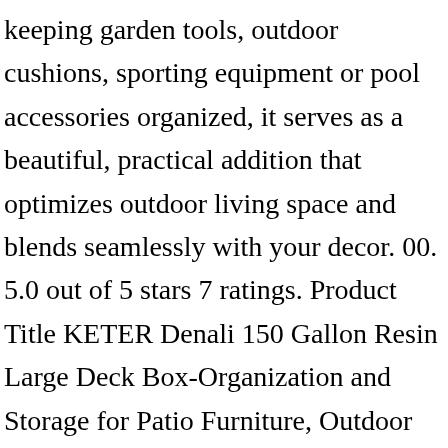keeping garden tools, outdoor cushions, sporting equipment or pool accessories organized, it serves as a beautiful, practical addition that optimizes outdoor living space and blends seamlessly with your decor. 00. 5.0 out of 5 stars 7 ratings. Product Title KETER Denali 150 Gallon Resin Large Deck Box-Organization and Storage for Patio Furniture, Outdoor Cushions, Garden Tools and Pool Toys, Grey & Black. The attractive, multifunctional design of Keter's 165-Gallon Deck Box makes it the perfect outdoor storage solution and much